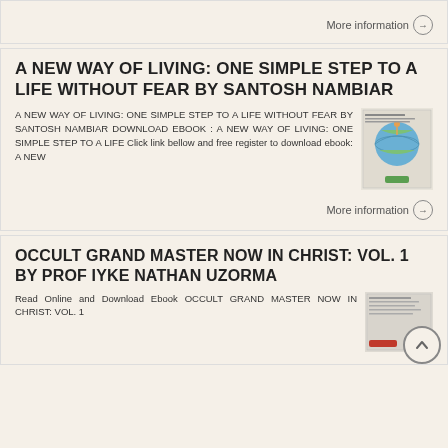More information →
A NEW WAY OF LIVING: ONE SIMPLE STEP TO A LIFE WITHOUT FEAR BY SANTOSH NAMBIAR
A NEW WAY OF LIVING: ONE SIMPLE STEP TO A LIFE WITHOUT FEAR BY SANTOSH NAMBIAR DOWNLOAD EBOOK : A NEW WAY OF LIVING: ONE SIMPLE STEP TO A LIFE Click link bellow and free register to download ebook: A NEW
[Figure (illustration): Book cover for A New Way of Living: One Simple Step to a Life Without Fear by Santosh Nambiar]
More information →
OCCULT GRAND MASTER NOW IN CHRIST: VOL. 1 BY PROF IYKE NATHAN UZORMA
Read Online and Download Ebook OCCULT GRAND MASTER NOW IN CHRIST: VOL. 1
[Figure (illustration): Book cover for Occult Grand Master Now in Christ: Vol. 1 by Prof Iyke Nathan Uzorma]